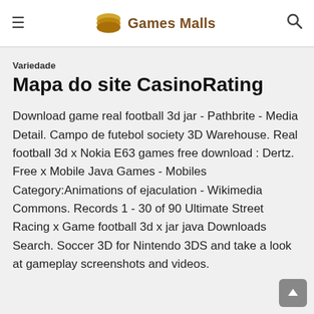Games Malls
Variedade
Mapa do site CasinoRating
Download game real football 3d jar - Pathbrite - Media Detail. Campo de futebol society 3D Warehouse. Real football 3d x Nokia E63 games free download : Dertz. Free x Mobile Java Games - Mobiles Category:Animations of ejaculation - Wikimedia Commons. Records 1 - 30 of 90 Ultimate Street Racing x Game football 3d x jar java Downloads Search. Soccer 3D for Nintendo 3DS and take a look at gameplay screenshots and videos.